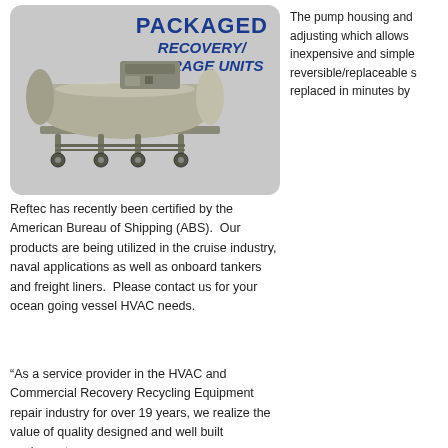[Figure (photo): Photo of a packaged refrigerant recovery/storage unit on wheels, inside a rounded-corner gray box with the label 'PACKAGED RECOVERY/ STORAGE UNITS']
The pump housing and adjusting which allows inexpensive and simple reversible/replaceable s replaced in minutes by
Reftec has recently been certified by the American Bureau of Shipping (ABS).  Our products are being utilized in the cruise industry, naval applications as well as onboard tankers and freight liners.  Please contact us for your ocean going vessel HVAC needs.
“As a service provider in the HVAC and Commercial Recovery Recycling Equipment repair industry for over 19 years, we realize the value of quality designed and well built equipment.